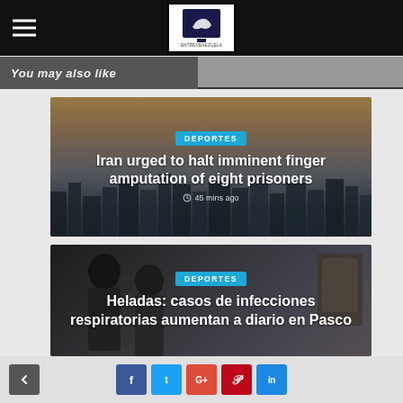EntreVenezuela — navigation bar with hamburger menu and logo
You may also like
[Figure (photo): City skyline with warm sunset sky — Iran city background for news article card]
DEPORTES
Iran urged to halt imminent finger amputation of eight prisoners
45 mins ago
[Figure (photo): Medical workers in masks and protective gear in a clinical setting — background for health news article]
DEPORTES
Heladas: casos de infecciones respiratorias aumentan a diario en Pasco
Social share buttons: Facebook, Twitter, Google+, Pinterest, LinkedIn